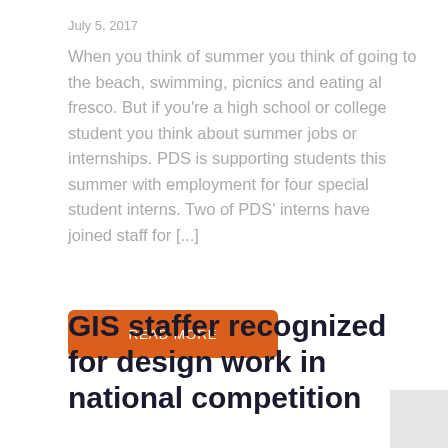July 5, 2017
When you think of summer you think of going to the beach, swimming, picnics and eating al fresco. But if you're a high school or college student you think about summer jobs or internships. PDS is supporting students this summer with employment for four special student interns. Two of PDS' interns have joined staff for [...]
READ MORE
GIS staffer recognized for design work in national competition